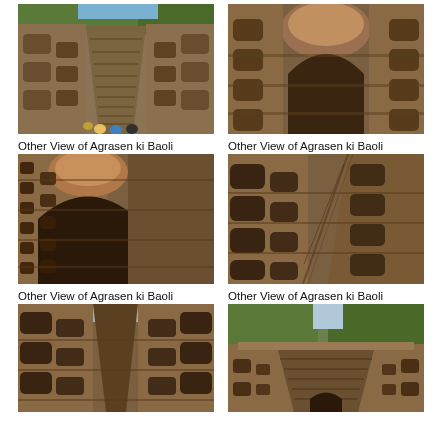[Figure (photo): View of Agrasen ki Baoli stepwell from above, showing descending steps and arched niches on either side, with visitors visible]
Other View of Agrasen ki Baoli
[Figure (photo): View of Agrasen ki Baoli stepwell showing a large domed archway at the end and multiple stories of arched niches]
Other View of Agrasen ki Baoli
[Figure (photo): Close-up view of the stone walls and arched niches of Agrasen ki Baoli]
Other View of Agrasen ki Baoli
[Figure (photo): Wide view of Agrasen ki Baoli showing the corridor and multiple levels of arched niches on both sides with stairs]
Other View of Agrasen ki Baoli
[Figure (photo): View of Agrasen ki Baoli showing lower levels and arched openings]
[Figure (photo): Aerial/top view of Agrasen ki Baoli with surrounding trees and the stepwell structure visible]